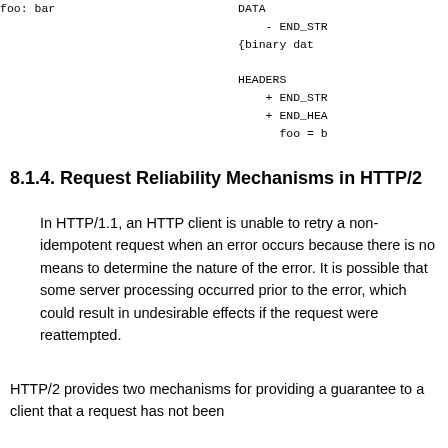foo: bar
DATA
  - END_STR
{binary dat

HEADERS
  + END_STR
  + END_HEA
    foo = b
8.1.4. Request Reliability Mechanisms in HTTP/2
In HTTP/1.1, an HTTP client is unable to retry a non-idempotent request when an error occurs because there is no means to determine the nature of the error. It is possible that some server processing occurred prior to the error, which could result in undesirable effects if the request were reattempted.
HTTP/2 provides two mechanisms for providing a guarantee to a client that a request has not been